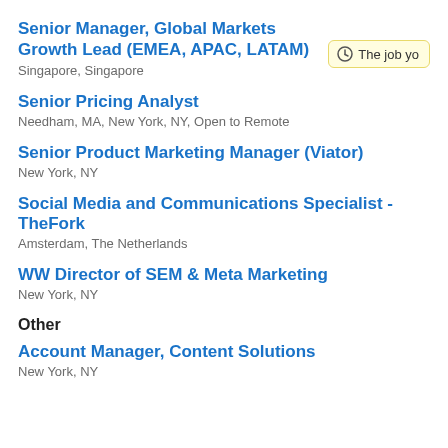Senior Manager, Global Markets Growth Lead (EMEA, APAC, LATAM)
Singapore, Singapore
Senior Pricing Analyst
Needham, MA, New York, NY, Open to Remote
Senior Product Marketing Manager (Viator)
New York, NY
Social Media and Communications Specialist - TheFork
Amsterdam, The Netherlands
WW Director of SEM & Meta Marketing
New York, NY
Other
Account Manager, Content Solutions
New York, NY